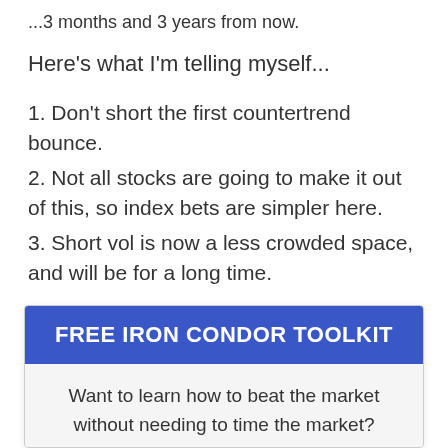...3 months and 3 years from now.
Here's what I'm telling myself...
1. Don't short the first countertrend bounce.
2. Not all stocks are going to make it out of this, so index bets are simpler here.
3. Short vol is now a less crowded space, and will be for a long time.
FREE IRON CONDOR TOOLKIT
Want to learn how to beat the market without needing to time the market?